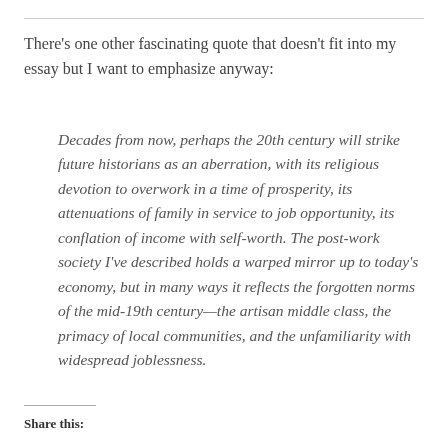There's one other fascinating quote that doesn't fit into my essay but I want to emphasize anyway:
Decades from now, perhaps the 20th century will strike future historians as an aberration, with its religious devotion to overwork in a time of prosperity, its attenuations of family in service to job opportunity, its conflation of income with self-worth. The post-work society I've described holds a warped mirror up to today's economy, but in many ways it reflects the forgotten norms of the mid-19th century—the artisan middle class, the primacy of local communities, and the unfamiliarity with widespread joblessness.
Share this: